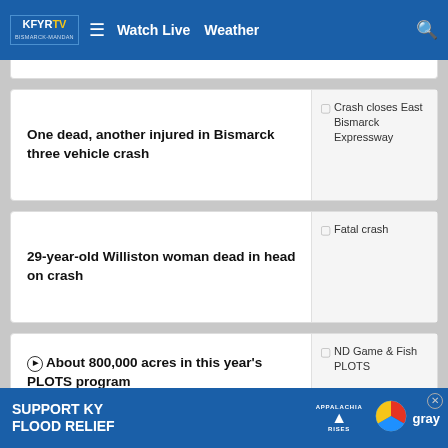KFYR Watch Live Weather
One dead, another injured in Bismarck three vehicle crash
[Figure (photo): Crash closes East Bismarck Expressway]
29-year-old Williston woman dead in head on crash
[Figure (photo): Fatal crash]
About 800,000 acres in this year's PLOTS program
[Figure (photo): ND Game & Fish PLOTS]
SUPPORT KY FLOOD RELIEF — Appalachia Rises — gray